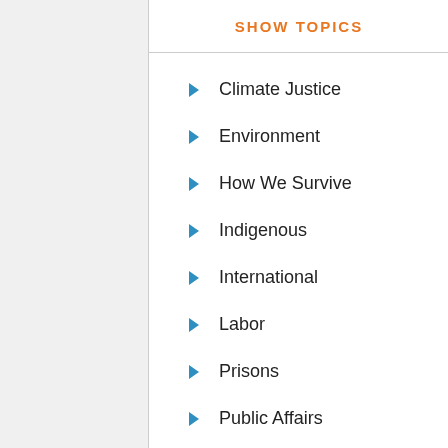SHOW TOPICS
Climate Justice
Environment
How We Survive
Indigenous
International
Labor
Prisons
Public Affairs